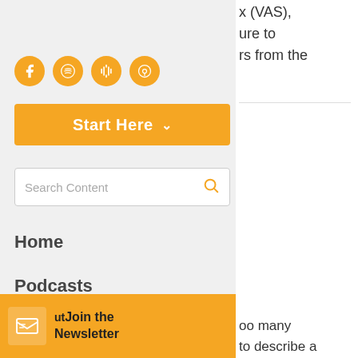[Figure (screenshot): Social media icons: Facebook, Spotify, Google Podcasts, Apple Podcasts — orange circles]
[Figure (screenshot): Orange 'Start Here' button with dropdown arrow]
[Figure (screenshot): Search Content input box with orange magnifying glass icon]
Home
Podcasts
All Content
[Figure (screenshot): Orange newsletter signup bar with newspaper icon and 'Join the Newsletter' text]
x (VAS),
ure to
rs from the
oo many
to describe a
-
come over the